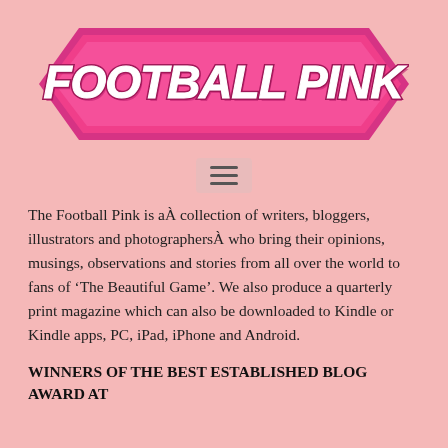[Figure (logo): Football Pink logo — a double-headed arrow shape in hot pink with white italic bold text 'FOOTBALL PINK' on it, with dark pink outline and shadow effects]
[Figure (other): Hamburger menu icon — three horizontal lines on a light pinkish-grey rounded rectangle button]
The Football Pink is aÂ collection of writers, bloggers, illustrators and photographersÂ who bring their opinions, musings, observations and stories from all over the world to fans of ‘The Beautiful Game’. We also produce a quarterly print magazine which can also be downloaded to Kindle or Kindle apps, PC, iPad, iPhone and Android.
WINNERS OF THE BEST ESTABLISHED BLOG AWARD AT